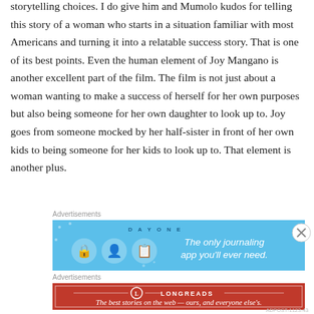storytelling choices. I do give him and Mumolo kudos for telling this story of a woman who starts in a situation familiar with most Americans and turning it into a relatable success story. That is one of its best points. Even the human element of Joy Mangano is another excellent part of the film. The film is not just about a woman wanting to make a success of herself for her own purposes but also being someone for her own daughter to look up to. Joy goes from someone mocked by her half-sister in front of her own kids to being someone for her kids to look up to. That element is another plus.
Advertisements
[Figure (other): Day One journaling app advertisement banner with light blue background, three circular icons, and text 'The only journaling app you'll ever need.']
Advertisements
[Figure (other): Longreads advertisement banner with red background, Longreads logo, and text 'The best stories on the web — ours, and everyone else's.']
ADPOST-1123-43